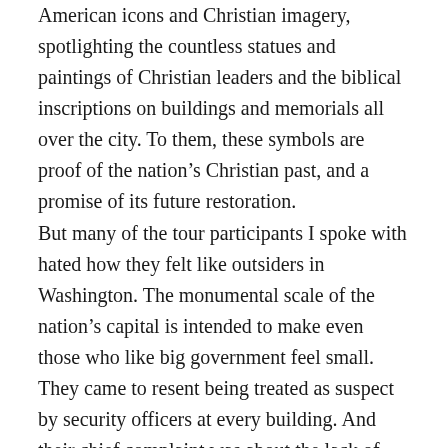American icons and Christian imagery, spotlighting the countless statues and paintings of Christian leaders and the biblical inscriptions on buildings and memorials all over the city. To them, these symbols are proof of the nation's Christian past, and a promise of its future restoration.
But many of the tour participants I spoke with hated how they felt like outsiders in Washington. The monumental scale of the nation's capital is intended to make even those who like big government feel small. They came to resent being treated as suspect by security officers at every building. And their chief complaint was about the lack of “real Christians” in the federal government, as evidenced by lawmakers who supported abortion